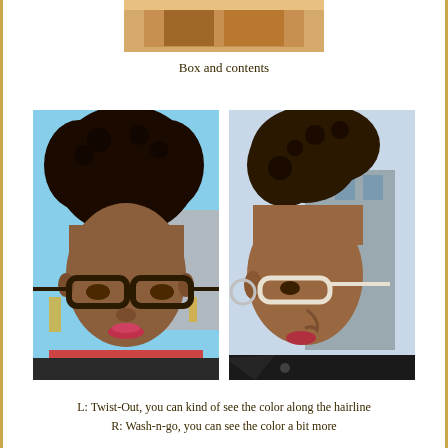[Figure (photo): Partial top image of a box and its contents, cropped at the top of the page]
Box and contents
[Figure (photo): Two side-by-side photos of a Black woman with natural hair and glasses. Left photo: woman facing camera wearing dark-framed glasses with a twist-out hairstyle. Right photo: profile/side view of same woman wearing white-framed glasses with a wash-n-go hairstyle.]
L: Twist-Out, you can kind of see the color along the hairline
R: Wash-n-go, you can see the color a bit more